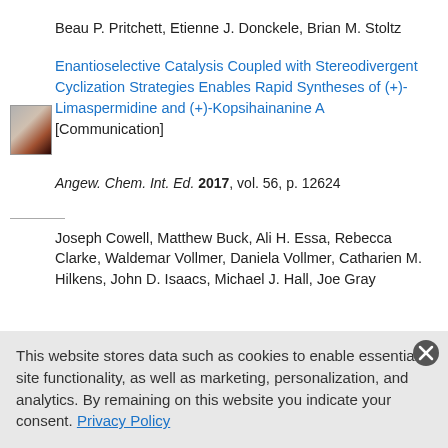Beau P. Pritchett, Etienne J. Donckele, Brian M. Stoltz
[Figure (photo): Journal cover thumbnail for Angew. Chem. Int. Ed.]
Enantioselective Catalysis Coupled with Stereodivergent Cyclization Strategies Enables Rapid Syntheses of (+)-Limaspermidine and (+)-Kopsihainanine A [Communication]
Angew. Chem. Int. Ed. 2017, vol. 56, p. 12624
Joseph Cowell, Matthew Buck, Ali H. Essa, Rebecca Clarke, Waldemar Vollmer, Daniela Vollmer, Catharien M. Hilkens, John D. Isaacs, Michael J. Hall, Joe Gray
[Figure (photo): Journal cover thumbnail for ChemBioChem]
Traceless Cleavage of Protein-Biotin Conjugates under Biologically Compatible Conditions [Communication]
ChemBioChem 2017, vol. 18, p. 1688
This website stores data such as cookies to enable essential site functionality, as well as marketing, personalization, and analytics. By remaining on this website you indicate your consent. Privacy Policy